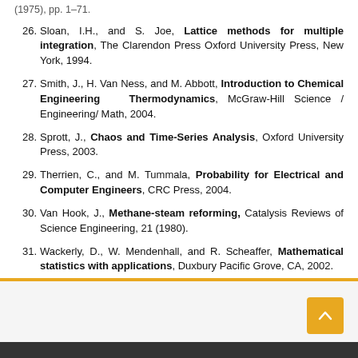26. Sloan, I.H., and S. Joe, Lattice methods for multiple integration, The Clarendon Press Oxford University Press, New York, 1994.
27. Smith, J., H. Van Ness, and M. Abbott, Introduction to Chemical Engineering Thermodynamics, McGraw-Hill Science / Engineering/ Math, 2004.
28. Sprott, J., Chaos and Time-Series Analysis, Oxford University Press, 2003.
29. Therrien, C., and M. Tummala, Probability for Electrical and Computer Engineers, CRC Press, 2004.
30. Van Hook, J., Methane-steam reforming, Catalysis Reviews of Science Engineering, 21 (1980).
31. Wackerly, D., W. Mendenhall, and R. Scheaffer, Mathematical statistics with applications, Duxbury Pacific Grove, CA, 2002.